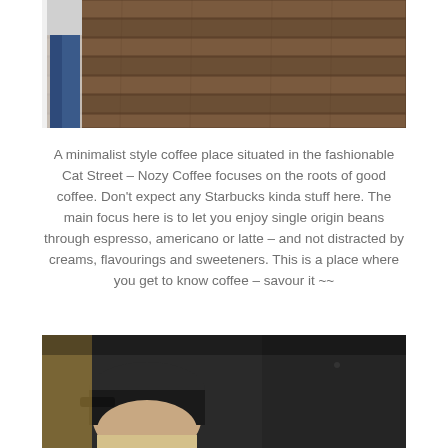[Figure (photo): Partial photo at top showing a person in jeans and white shirt standing in front of a wooden plank wall background. Only the lower body and legs are visible.]
A minimalist style coffee place situated in the fashionable Cat Street – Nozy Coffee focuses on the roots of good coffee. Don't expect any Starbucks kinda stuff here. The main focus here is to let you enjoy single origin beans through espresso, americano or latte – and not distracted by creams, flavourings and sweeteners. This is a place where you get to know coffee – savour it ~~
[Figure (photo): Photo at the bottom showing a person with dark hair wearing a dark cap, seated inside what appears to be a dimly lit coffee shop interior with dark walls.]